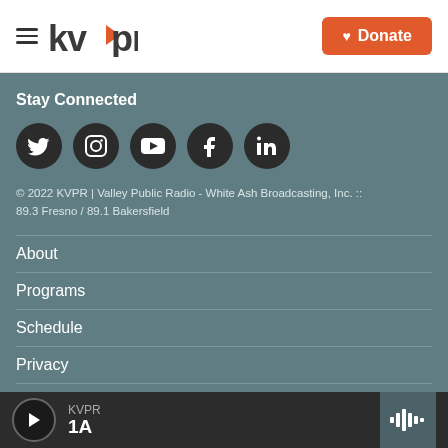[Figure (logo): KVPR radio station logo with hamburger menu icon]
[Figure (infographic): Donate button with heart icon on orange background]
Stay Connected
[Figure (infographic): Social media icons: Twitter, Instagram, YouTube, Facebook, LinkedIn]
© 2022 KVPR | Valley Public Radio - White Ash Broadcasting, Inc. :: 89.3 Fresno / 89.1 Bakersfield
About
Programs
Schedule
Privacy
Contact
[Figure (infographic): Audio player bar at bottom showing KVPR station and 1A program with play button and waveform icon]